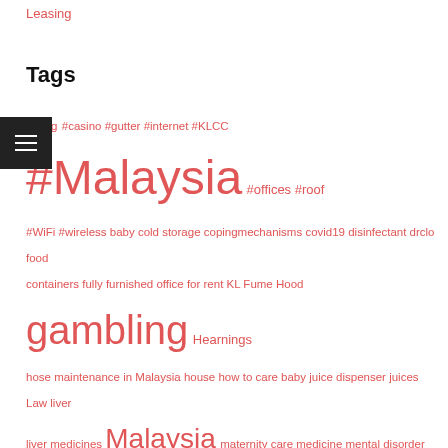Leasing
Tags
#young #casino #gutter #internet #KLCC #Malaysia #offices #roof #WiFi #wireless baby cold storage copingmechanisms covid19 disinfectant drclo food containers fully furnished office for rent KL Fume Hood gambling Hearnings hose maintenance in Malaysia house how to care baby juice dispenser juices Law liver liver medicines Malaysia maternity care medicine mental disorder mentalhealth newborn baby online banking account creation malaysia online shopping pandemic pregnancy rain ship Sports technology tips tupperware